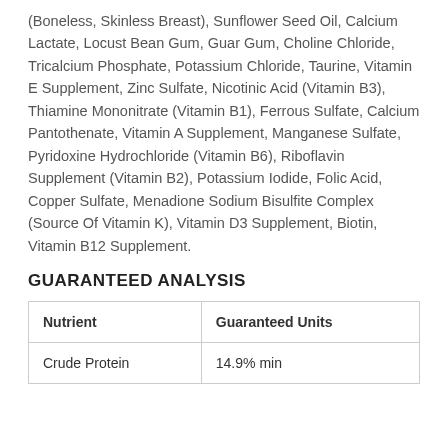(Boneless, Skinless Breast), Sunflower Seed Oil, Calcium Lactate, Locust Bean Gum, Guar Gum, Choline Chloride, Tricalcium Phosphate, Potassium Chloride, Taurine, Vitamin E Supplement, Zinc Sulfate, Nicotinic Acid (Vitamin B3), Thiamine Mononitrate (Vitamin B1), Ferrous Sulfate, Calcium Pantothenate, Vitamin A Supplement, Manganese Sulfate, Pyridoxine Hydrochloride (Vitamin B6), Riboflavin Supplement (Vitamin B2), Potassium Iodide, Folic Acid, Copper Sulfate, Menadione Sodium Bisulfite Complex (Source Of Vitamin K), Vitamin D3 Supplement, Biotin, Vitamin B12 Supplement.
GUARANTEED ANALYSIS
| Nutrient | Guaranteed Units |
| --- | --- |
| Crude Protein | 14.9% min |